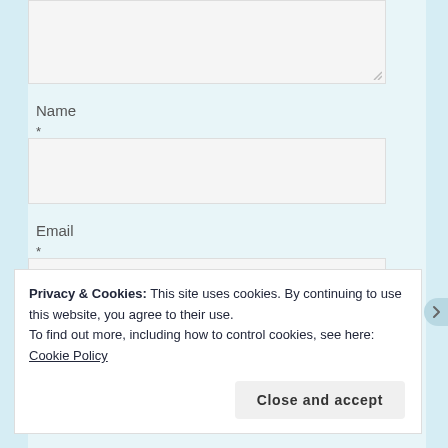[Figure (screenshot): Textarea input box (top portion visible) with resize handle at bottom-right]
Name
*
[Figure (screenshot): Name text input field (empty, light gray background)]
Email
*
[Figure (screenshot): Email text input field (empty, light gray background)]
Privacy & Cookies: This site uses cookies. By continuing to use this website, you agree to their use.
To find out more, including how to control cookies, see here: Cookie Policy
Close and accept